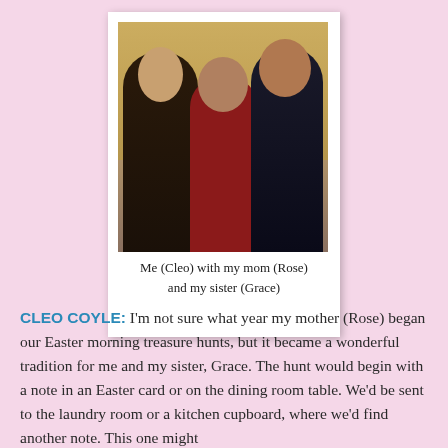[Figure (photo): A polaroid-style photograph of three women — Cleo (left), her mother Rose (center), and her sister Grace (right) — posing together indoors with a curtain behind them. The photo has a white polaroid border with handwritten caption below.]
Me (Cleo) with my mom (Rose) and my sister (Grace)
CLEO COYLE: I'm not sure what year my mother (Rose) began our Easter morning treasure hunts, but it became a wonderful tradition for me and my sister, Grace. The hunt would begin with a note in an Easter card or on the dining room table. We'd be sent to the laundry room or a kitchen cupboard, where we'd find another note. This one might